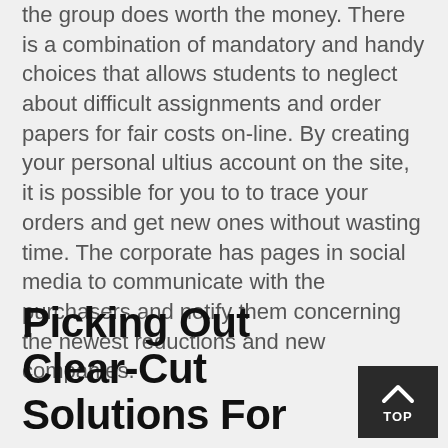Oltius evaluation proves that the job that the group does worth the money. There is a combination of mandatory and handy choices that allows students to neglect about difficult assignments and order papers for fair costs on-line. By creating your personal ultius account on the site, it is possible for you to to trace your orders and get new ones without wasting time. The corporate has pages in social media to communicate with the purchasers and notify them concerning the newest reductions and new companies.
Picking Out Clear-Cut Solutions For